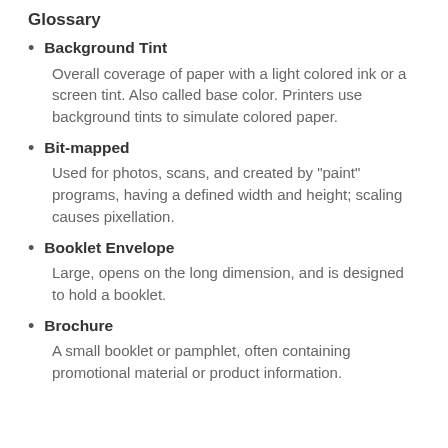Glossary
Background Tint
Overall coverage of paper with a light colored ink or a screen tint. Also called base color. Printers use background tints to simulate colored paper.
Bit-mapped
Used for photos, scans, and created by "paint" programs, having a defined width and height; scaling causes pixellation.
Booklet Envelope
Large, opens on the long dimension, and is designed to hold a booklet.
Brochure
A small booklet or pamphlet, often containing promotional material or product information.